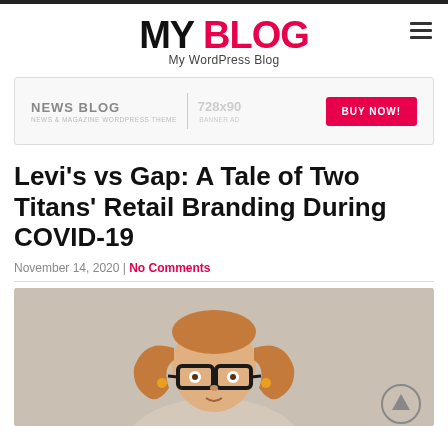MY BLOG — My WordPress Blog
[Figure (screenshot): Advertisement banner: NEWS BLOG | 728x90 | BUY NOW!]
Levi's vs Gap: A Tale of Two Titans' Retail Branding During COVID-19
November 14, 2020 | No Comments
[Figure (photo): Photo of a young girl with pigtails wearing large black glasses, on a beige background. A scroll-to-top arrow button is visible in the lower right.]